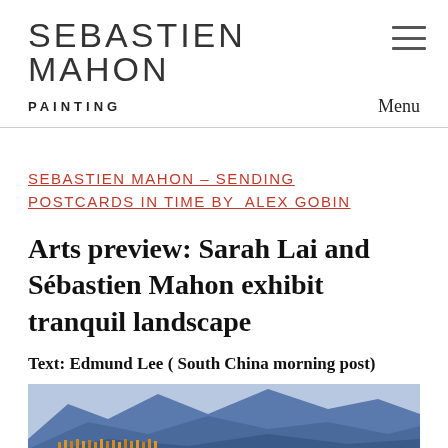SEBASTIEN MAHON
PAINTING    Menu
SEBASTIEN MAHON – SENDING POSTCARDS IN TIME BY  ALEX GOBIN
Arts preview: Sarah Lai and Sébastien Mahon exhibit tranquil landscape
Text: Edmund Lee ( South China morning post)
[Figure (photo): Landscape painting showing blue mountains and yellow-orange trees along water, by Sébastien Mahon]